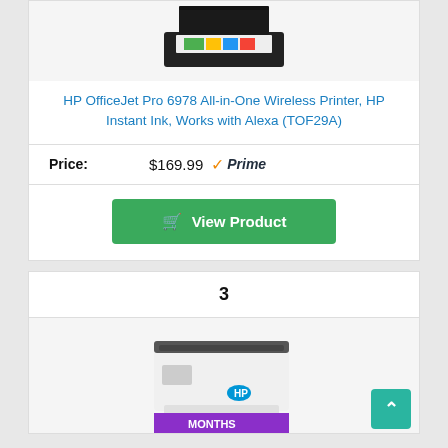[Figure (photo): HP OfficeJet Pro 6978 printer product image, partially visible at top of card]
HP OfficeJet Pro 6978 All-in-One Wireless Printer, HP Instant Ink, Works with Alexa (TOF29A)
Price: $169.99 ✓Prime
View Product
3
[Figure (photo): Second printer product image partially visible at bottom, with purple banner showing 'MONTHS']